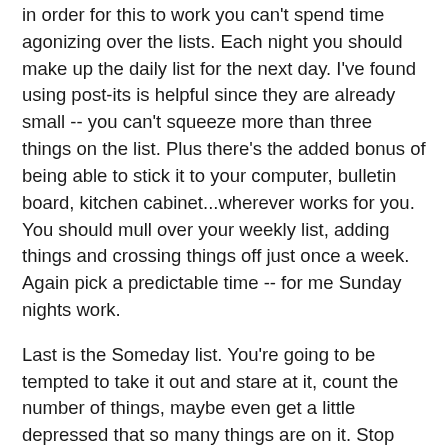in order for this to work you can't spend time agonizing over the lists. Each night you should make up the daily list for the next day. I've found using post-its is helpful since they are already small -- you can't squeeze more than three things on the list. Plus there's the added bonus of being able to stick it to your computer, bulletin board, kitchen cabinet...wherever works for you. You should mull over your weekly list, adding things and crossing things off just once a week. Again pick a predictable time -- for me Sunday nights work.
Last is the Someday list. You're going to be tempted to take it out and stare at it, count the number of things, maybe even get a little depressed that so many things are on it. Stop that! You can take it out to add something to it but don't take time to study it. Just make your additions and lock it back up in it's desk drawer or computer file. Once a month you can take it out to refresh your memory so you don't forget anything. Just don't forget to tell yourself that "someday" is a long time so even if this list is long that's OK.
I'm still tempted to add just one more thing to my daily list or pull out my longer lists "just to look them over". But I've been